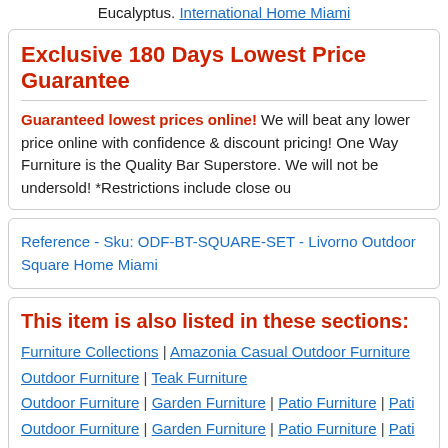Eucalyptus. International Home Miami
Exclusive 180 Days Lowest Price Guarantee
Guaranteed lowest prices online! We will beat any lower price online with confidence & discount pricing! One Way Furniture is the Quality Bar Superstore. We will not be undersold! *Restrictions include close ou
Reference - Sku: ODF-BT-SQUARE-SET - Livorno Outdoor Square Home Miami
This item is also listed in these sections:
Furniture Collections | Amazonia Casual Outdoor Furniture Outdoor Furniture | Teak Furniture Outdoor Furniture | Garden Furniture | Patio Furniture | Pati Outdoor Furniture | Garden Furniture | Patio Furniture | Pati
Sponsored Links